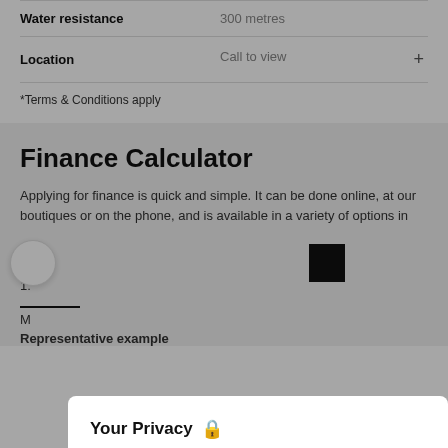| Water resistance | 300 metres |
| --- | --- |
| Location | Call to view |
*Terms & Conditions apply
Finance Calculator
Applying for finance is quick and simple. It can be done online, at our boutiques or on the phone, and is available in a variety of options in
D
1:
M
L
[Figure (screenshot): Privacy consent modal overlay with title 'Your Privacy' and lock icon, body text about cookies and cookie policy, and two buttons: 'Configure Settings' and 'Accept All']
Representative example